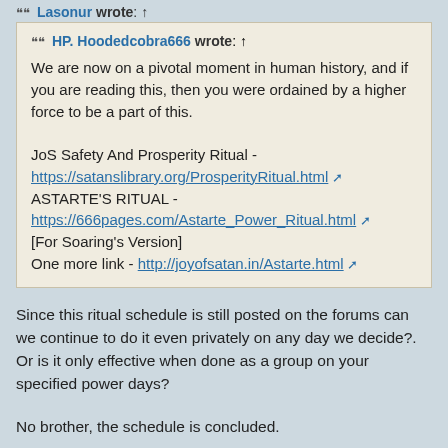Lasonur wrote: ↑
HP. Hoodedcobra666 wrote: ↑
We are now on a pivotal moment in human history, and if you are reading this, then you were ordained by a higher force to be a part of this.

JoS Safety And Prosperity Ritual -
https://satanslibrary.org/ProsperityRitual.html
ASTARTE'S RITUAL -
https://666pages.com/Astarte_Power_Ritual.html
[For Soaring's Version]
One more link - http://joyofsatan.in/Astarte.html
Since this ritual schedule is still posted on the forums can we continue to do it even privately on any day we decide?. Or is it only effective when done as a group on your specified power days?
No brother, the schedule is concluded.
One can still do the Rituals but another one will be posted soon. Renew in the meantime.